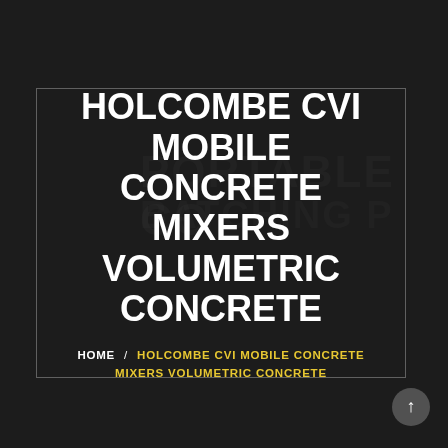[Figure (screenshot): Dark background webpage hero section with faint text 'PORTABLE CONCRETE BATCHING' visible behind a centered bordered box]
HOLCOMBE CVI MOBILE CONCRETE MIXERS VOLUMETRIC CONCRETE
HOME / HOLCOMBE CVI MOBILE CONCRETE MIXERS VOLUMETRIC CONCRETE